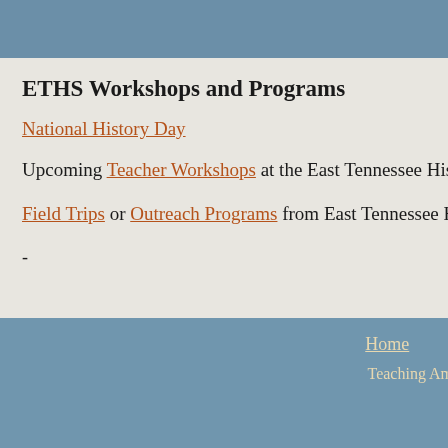Any cookie generated by this s hour. There is no way for our w system which you do not wish
ETHS Workshops and Programs
National History Day
Upcoming Teacher Workshops at the East Tennessee History Center
Field Trips or Outreach Programs from East Tennessee History Center
-
Home   Site Map   Teaching American History · 601 S. Gay Street · K 865-215-8824 · eMail: